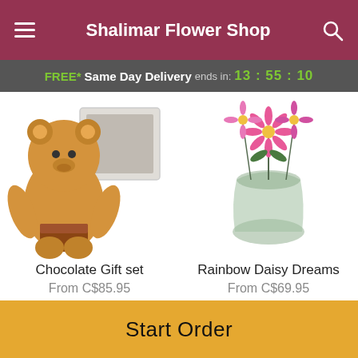Shalimar Flower Shop
FREE* Same Day Delivery ends in: 13:55:10
[Figure (photo): Product image: Chocolate Gift set with teddy bear and chocolates]
Chocolate Gift set
From C$85.95
[Figure (photo): Product image: Rainbow Daisy Dreams - pink daisy flowers in a glass vase]
Rainbow Daisy Dreams
From C$69.95
[Figure (logo): Powered by Lovingly logo with heart icon and dark blue wordmark]
Start Order